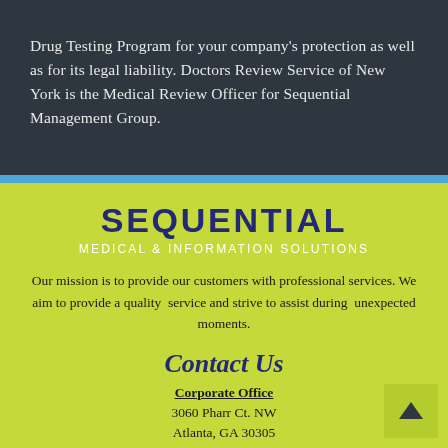Drug Testing Program for your company's protection as well as for its legal liability. Doctors Review Service of New York is the Medical Review Officer for Sequential Management Group.
SEQUENTIAL
MEDICAL & INFORMATION SOLUTIONS
Our mission is to provide our customers with professional services. We aim to provide a quality service and strive to assist during unexpected moments.
Contact Us
Corporate Office
3060 Pharr Ct. NW
Atlanta, GA 30305
New York
1060 Broadway